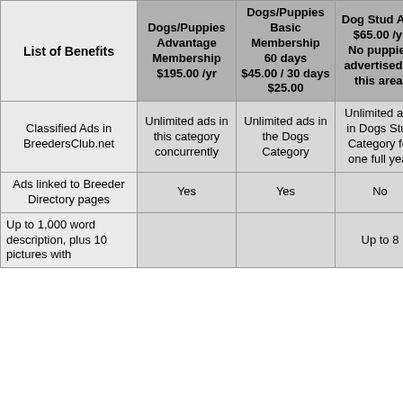| List of Benefits | Dogs/Puppies Advantage Membership $195.00 /yr | Dogs/Puppies Basic Membership 60 days $45.00 / 30 days $25.00 | Dog Stud Ads $65.00 /yr No puppies advertised in this area. | Cattery Advantage Membership $39.95 /yr |
| --- | --- | --- | --- | --- |
| Classified Ads in BreedersClub.net | Unlimited ads in this category concurrently | Unlimited ads in the Dogs Category | Unlimited ads in Dogs Stud Category for one full year | Up to three ads in Cat Category concurrently |
| Ads linked to Breeder Directory pages | Yes | Yes | No | Yes |
| Up to 1,000 word description, plus 10 pictures with ... | Yes | Yes | Up to 8 | Up to 12 |